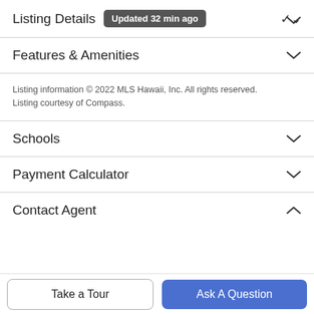Listing Details Updated 32 min ago
Features & Amenities
Listing information © 2022 MLS Hawaii, Inc. All rights reserved. Listing courtesy of Compass.
Schools
Payment Calculator
Contact Agent